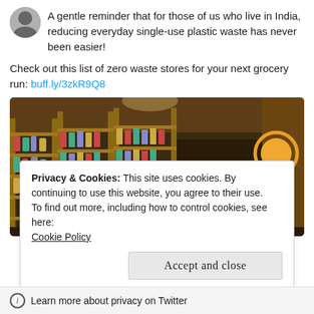[Figure (photo): Circular avatar/profile photo of a person]
A gentle reminder that for those of us who live in India, reducing everyday single-use plastic waste has never been easier!
Check out this list of zero waste stores for your next grocery run: buff.ly/3zkR9Q8
[Figure (photo): Interior of a zero waste / bulk grocery store with wooden shelves filled with jars and products, and a chalkboard sign at the checkout counter.]
Privacy & Cookies: This site uses cookies. By continuing to use this website, you agree to their use.
To find out more, including how to control cookies, see here:
Cookie Policy
Accept and close
ⓘ  Learn more about privacy on Twitter